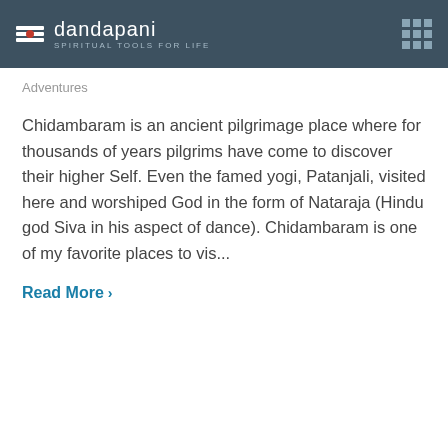dandapani — SPIRITUAL TOOLS FOR LIFE
Adventures
Chidambaram is an ancient pilgrimage place where for thousands of years pilgrims have come to discover their higher Self. Even the famed yogi, Patanjali, visited here and worshiped God in the form of Nataraja (Hindu god Siva in his aspect of dance). Chidambaram is one of my favorite places to vis...
Read More >